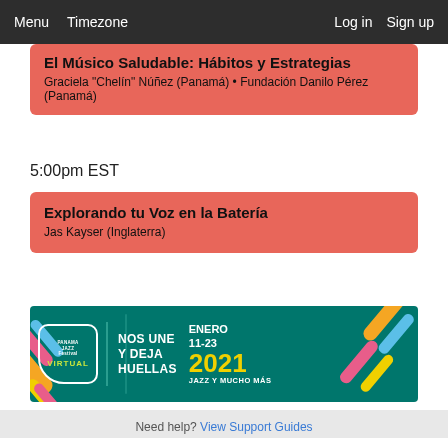Menu  Timezone  Log in  Sign up
El Músico Saludable: Hábitos y Estrategias
Graciela "Chelín" Núñez (Panamá) • Fundación Danilo Pérez (Panamá)
5:00pm EST
Explorando tu Voz en la Batería
Jas Kayser (Inglaterra)
[Figure (illustration): Panama Jazz Festival Virtual banner. Dark teal background with colorful diagonal stripes. Badge logo reads 'PANAMA JAZZ FESTIVAL VIRTUAL'. Text: NOS UNE Y DEJA HUELLAS | ENERO 11-23 2021 JAZZ Y MUCHO MÁS]
Need help? View Support Guides